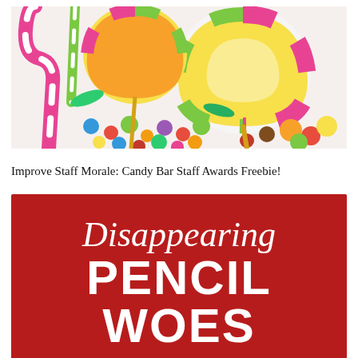[Figure (photo): Colorful assorted candies and lollipops — swirled lollipops in yellow, red, green, orange; candy canes; small round candies in various colors including blue, red, green, brown, yellow on a white background.]
Improve Staff Morale: Candy Bar Staff Awards Freebie!
[Figure (infographic): Red banner with white text reading 'Disappearing PENCIL WOES' — 'Disappearing' in italic script font at top, 'PENCIL' and 'WOES' in large bold sans-serif below.]